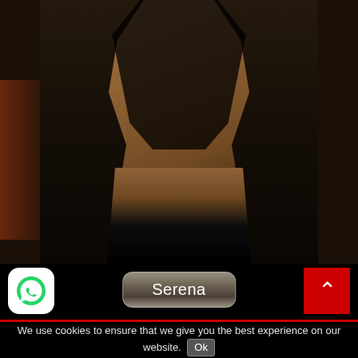[Figure (photo): A person wearing a black corset/bodysuit outfit with black lace stockings, photographed from neck to thighs against a dark background.]
Serena
[Figure (logo): WhatsApp icon - white rounded square with green WhatsApp phone logo]
[Figure (infographic): Red scroll-to-top button with white upward chevron arrow]
We use cookies to ensure that we give you the best experience on our website. Ok